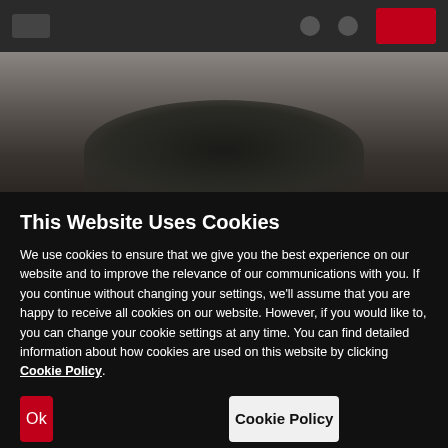[Figure (screenshot): Browser screenshot showing a dark navigation bar with icons and a red button, above a blurred background image of a dark car]
This Website Uses Cookies
We use cookies to ensure that we give you the best experience on our website and to improve the relevance of our communications with you. If you continue without changing your settings, we'll assume that you are happy to receive all cookies on our website. However, if you would like to, you can change your cookie settings at any time. You can find detailed information about how cookies are used on this website by clicking Cookie Policy.
Ok
Cookie Policy